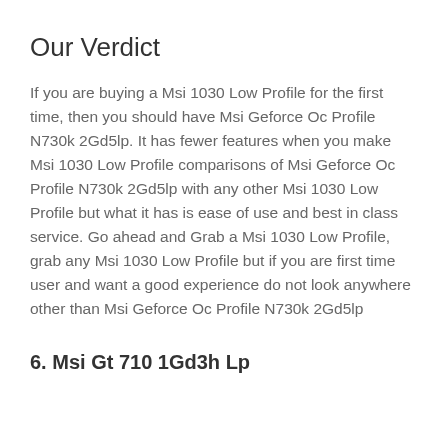Our Verdict
If you are buying a Msi 1030 Low Profile for the first time, then you should have Msi Geforce Oc Profile N730k 2Gd5lp. It has fewer features when you make Msi 1030 Low Profile comparisons of Msi Geforce Oc Profile N730k 2Gd5lp with any other Msi 1030 Low Profile but what it has is ease of use and best in class service. Go ahead and Grab a Msi 1030 Low Profile, grab any Msi 1030 Low Profile but if you are first time user and want a good experience do not look anywhere other than Msi Geforce Oc Profile N730k 2Gd5lp
6. Msi Gt 710 1Gd3h Lp